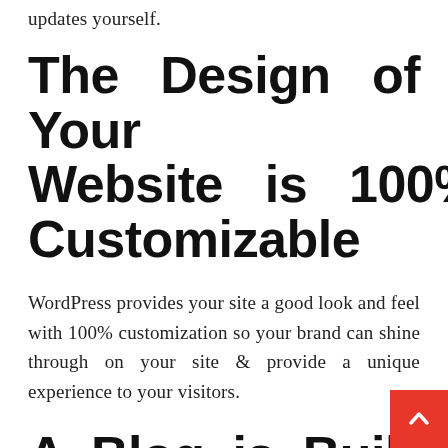updates yourself.
The Design of Your Website is 100% Customizable
WordPress provides your site a good look and feel with 100% customization so your brand can shine through on your site & provide a unique experience to your visitors.
A Blog is Built-in and Ready to Go